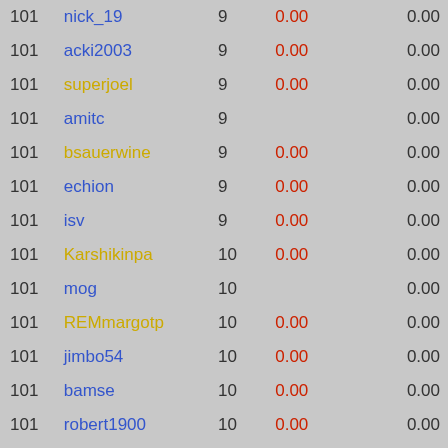| Rank | Name | Num | Val1 |  | Val2 |
| --- | --- | --- | --- | --- | --- |
| 101 | nick_19 | 9 | 0.00 |  | 0.00 |
| 101 | acki2003 | 9 | 0.00 |  | 0.00 |
| 101 | superjoel | 9 | 0.00 |  | 0.00 |
| 101 | amitc | 9 |  |  | 0.00 |
| 101 | bsauerwine | 9 | 0.00 |  | 0.00 |
| 101 | echion | 9 | 0.00 |  | 0.00 |
| 101 | isv | 9 | 0.00 |  | 0.00 |
| 101 | Karshikinpa | 10 | 0.00 |  | 0.00 |
| 101 | mog | 10 |  |  | 0.00 |
| 101 | REMmargotp | 10 | 0.00 |  | 0.00 |
| 101 | jimbo54 | 10 | 0.00 |  | 0.00 |
| 101 | bamse | 10 | 0.00 |  | 0.00 |
| 101 | robert1900 | 10 | 0.00 |  | 0.00 |
| 101 | 4ad | 10 | 0.00 |  | 0.00 |
| 101 | haha | 11 |  |  | 0.00 |